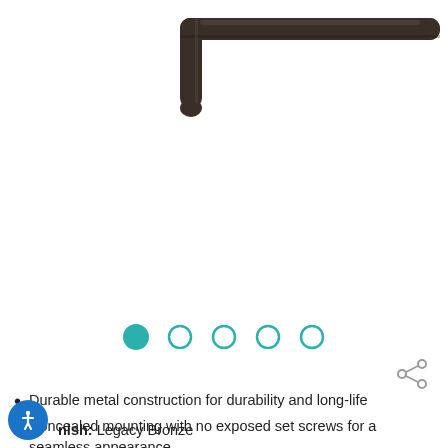[Figure (photo): Dark bronze L-shaped hook or bracket, shown at an angle against a white background, partially cropped at top.]
[Figure (other): Carousel navigation dots: 5 circles, first one filled teal, remaining 4 are teal outlines only.]
[Figure (other): Share icon (three connected circles) on the right side.]
Durable metal construction for durability and long-life
Concealed mounting with no exposed set screws for a seamless appearance
Finish: Legacy Bronze